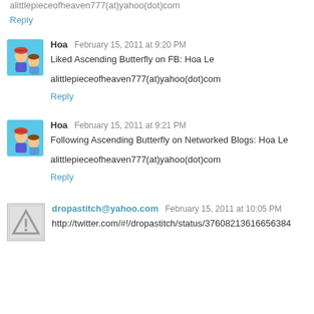alittlepieceofheaven777(at)yahoo(dot)com
Reply
Hoa  February 15, 2011 at 9:20 PM
Liked Ascending Butterfly on FB: Hoa Le
alittlepieceofheaven777(at)yahoo(dot)com
Reply
Hoa  February 15, 2011 at 9:21 PM
Following Ascending Butterfly on Networked Blogs: Hoa Le
alittlepieceofheaven777(at)yahoo(dot)com
Reply
dropastitch@yahoo.com  February 15, 2011 at 10:05 PM
http://twitter.com/#!/dropastitch/status/37608213616656384